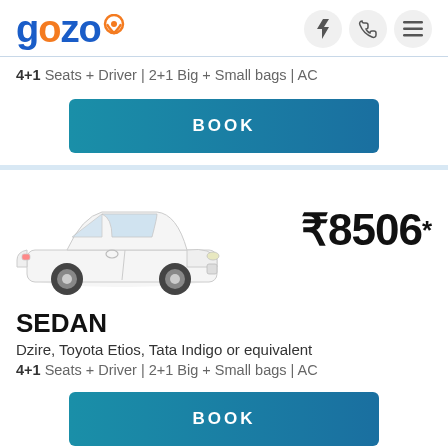gozo (logo with location pin icon, lightning bolt, phone, menu icons)
4+1 Seats + Driver | 2+1 Big + Small bags | AC
BOOK
[Figure (photo): White Toyota Etios sedan car facing left on white background]
₹8506*
SEDAN
Dzire, Toyota Etios, Tata Indigo or equivalent
4+1 Seats + Driver | 2+1 Big + Small bags | AC
BOOK